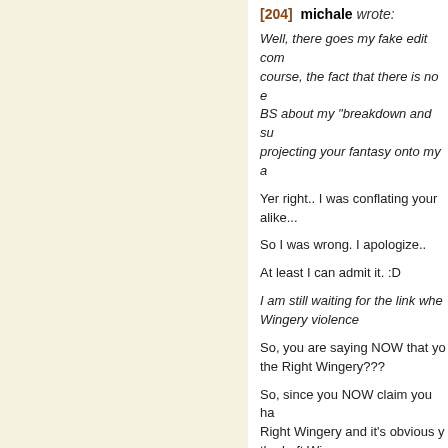[204] michale wrote:
Well, there goes my fake edit com course, the fact that there is no e BS about my "breakdown and su projecting your fantasy onto my a
Yer right.. I was conflating your alike...
So I was wrong. I apologize..
At least I can admit it. :D
I am still waiting for the link whe Wingery violence
So, you are saying NOW that yo the Right Wingery???
So, since you NOW claim you ha Right Wingery and it's obvious y the Left Wingery..
Where is the evidence that you a
By your own admission, there is :D
I have a busy day so... later. :D
Run away.... Run away..... :D